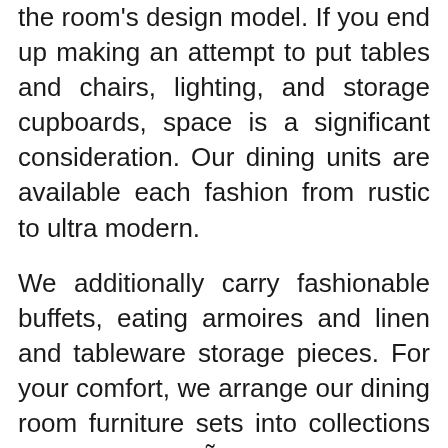the room's design model. If you end up making an attempt to put tables and chairs, lighting, and storage cupboards, space is a significant consideration. Our dining units are available each fashion from rustic to ultra modern.
We additionally carry fashionable buffets, eating armoires and linen and tableware storage pieces. For your comfort, we arrange our dining room furniture sets into collections according to décor. Situated in the heart of Sydney's The Rocks and designed as a trendy harbourside residence, our signature restaurant The Eating Room provides world-class views of Sydney Harbour and Sydney Opera House.